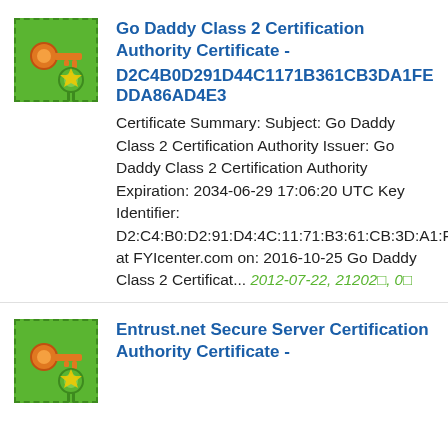[Figure (logo): Green square with dashed border containing orange key and green medal/seal icon]
Go Daddy Class 2 Certification Authority Certificate -
D2C4B0D291D44C1171B361CB3DA1FEDDA86AD4E3
Certificate Summary: Subject: Go Daddy Class 2 Certification Authority Issuer: Go Daddy Class 2 Certification Authority Expiration: 2034-06-29 17:06:20 UTC Key Identifier: D2:C4:B0:D2:91:D4:4C:11:71:B3:61:CB:3D:A1:FE:DD:A8:6A:D4:E3Received at FYIcenter.com on: 2016-10-25 Go Daddy Class 2 Certificat... 2012-07-22, 21202□, 0□
[Figure (logo): Green square with dashed border containing orange key and green medal/seal icon]
Entrust.net Secure Server Certification Authority Certificate -